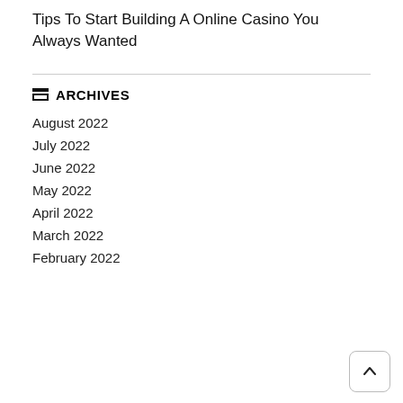Tips To Start Building A Online Casino You Always Wanted
ARCHIVES
August 2022
July 2022
June 2022
May 2022
April 2022
March 2022
February 2022